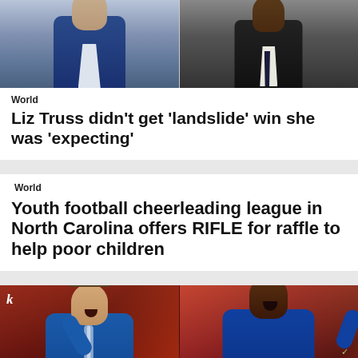[Figure (photo): Two people in formal wear, left person in blue suit, right person in dark suit with tie]
World
Liz Truss didn't get 'landslide' win she was 'expecting'
World
Youth football cheerleading league in North Carolina offers RIFLE for raffle to help poor children
[Figure (photo): Two Chelsea FC footballers in blue kits celebrating, left player older (John Terry era), right player younger, both with mouths open cheering]